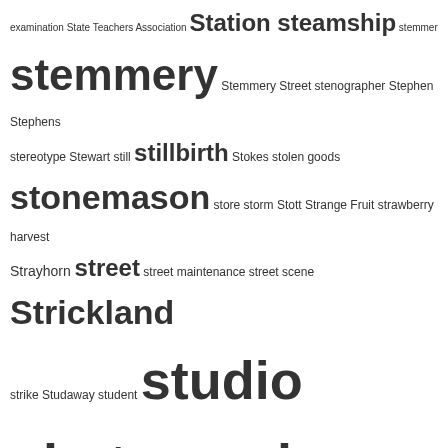examination State Teachers Association Station steamship stemmer stemmery Stemmery Street stenographer Stephen Stephens stereotype Stewart still stillbirth Stokes stolen goods stonemason store storm Stott Strange Fruit strawberry harvest Strayhorn street street maintenance street scene Strickland strike Studaway student studio photograph studio photography subdivision sudden death sugar Sugar Hill Sugg Suggs Suggs Street suicide Summerlin summer school Summerville Sunday Sunday School Sunshine Alley sunstroke supercentenarian superintendent Superior Court supporters surgery survey suspicion of murder Sutton Swader sweet potato Swift swimming swimming hole swimming pool Swindell swindle swing band Swinney Swinson Tabernacle Missionary Baptist Church Tabon Taborn Tabourn Tabron tailor Talley Tampa Tarboro Tart Tartt tate tattoo taxation taxi taxidermy taxi driver Taybron Taylor Taylors township Taylor township teacher teacherage teachers Teachey Teachy teamster Tedder teenager telegram tenant tenant farmer tenant